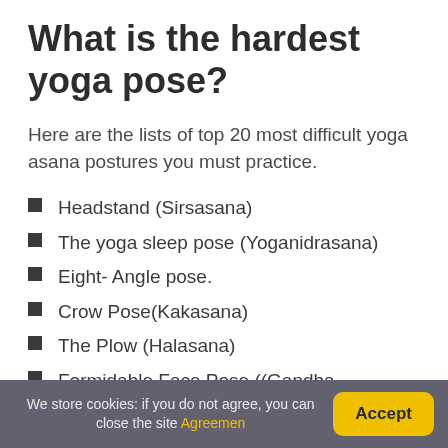What is the hardest yoga pose?
Here are the lists of top 20 most difficult yoga asana postures you must practice.
Headstand (Sirsasana)
The yoga sleep pose (Yoganidrasana)
Eight- Angle pose.
Crow Pose(Kakasana)
The Plow (Halasana)
Formidable Face Pose ((Gandha Bherundasana)
The Corpse Pose(Shavasana)
We store cookies: if you do not agree, you can close the site Agreemen